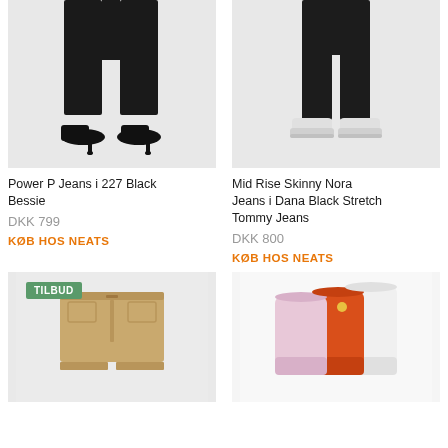[Figure (photo): Black dress trousers worn with black high heel shoes, lower body only]
Power P Jeans i 227 Black
Bessie
DKK 799
KØB HOS NEATS
[Figure (photo): Black skinny jeans from behind, worn with white sneakers, lower body only]
Mid Rise Skinny Nora Jeans i Dana Black Stretch
Tommy Jeans
DKK 800
KØB HOS NEATS
[Figure (photo): Beige/tan chino shorts on light grey background with green TILBUD badge]
[Figure (photo): Colorful rain boots in pink, orange and white colors]